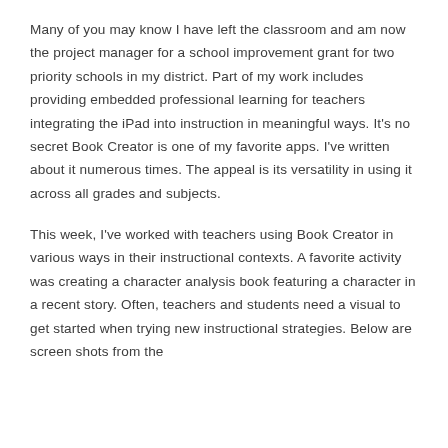Many of you may know I have left the classroom and am now the project manager for a school improvement grant for two priority schools in my district. Part of my work includes providing embedded professional learning for teachers integrating the iPad into instruction in meaningful ways. It’s no secret Book Creator is one of my favorite apps. I’ve written about it numerous times. The appeal is its versatility in using it across all grades and subjects.
This week, I’ve worked with teachers using Book Creator in various ways in their instructional contexts. A favorite activity was creating a character analysis book featuring a character in a recent story. Often, teachers and students need a visual to get started when trying new instructional strategies. Below are screen shots from the